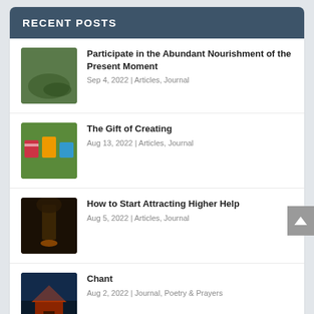RECENT POSTS
Participate in the Abundant Nourishment of the Present Moment
Sep 4, 2022 | Articles, Journal
The Gift of Creating
Aug 13, 2022 | Articles, Journal
How to Start Attracting Higher Help
Aug 5, 2022 | Articles, Journal
Chant
Aug 2, 2022 | Journal, Poetry & Prayers
Deep Wells in the Wood
Jul 20, 2022 | Journal, Meditation & Mindfulness,